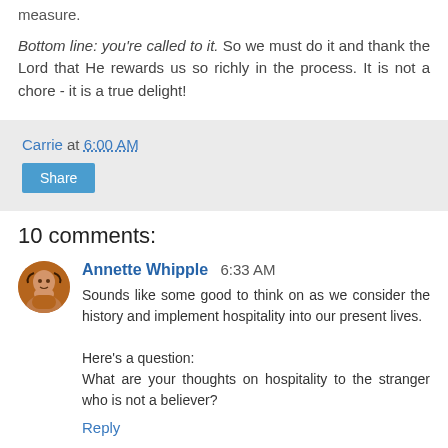measure.
Bottom line: you're called to it. So we must do it and thank the Lord that He rewards us so richly in the process. It is not a chore - it is a true delight!
Carrie at 6:00 AM
Share
10 comments:
Annette Whipple 6:33 AM
Sounds like some good to think on as we consider the history and implement hospitality into our present lives.

Here's a question:
What are your thoughts on hospitality to the stranger who is not a believer?
Reply